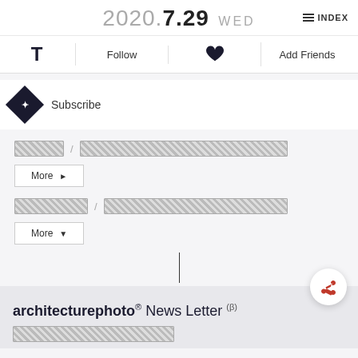2020.7.29 WED   INDEX
T   Follow   [heart icon]   Add Friends
Subscribe
[redacted] / [redacted text block]
More ▶
[redacted] / [redacted text block]
More ▼
architecturephoto® News Letter (β)
[redacted text block]